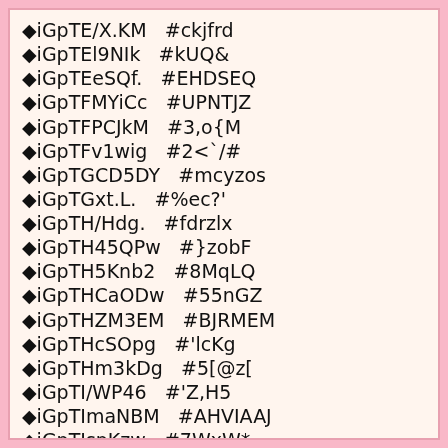◆iGpTE/X.KM  #ckjfrd
◆iGpTEl9NIk  #kUQ&
◆iGpTEeSQf.  #EHDSEQ
◆iGpTFMYiCc  #UPNTJZ
◆iGpTFPCJkM  #3,o{M
◆iGpTFv1wig  #2<`/#
◆iGpTGCD5DY  #mcyzos
◆iGpTGxt.L.  #%ec?'
◆iGpTH/Hdg.  #fdrzlx
◆iGpTH45QPw  #}zobF
◆iGpTH5Knb2  #8MqLQ
◆iGpTHCaODw  #55nGZ
◆iGpTHZM3EM  #BJRMEM
◆iGpTHcSOpg  #'lcKg
◆iGpTHm3kDg  #5[@z[
◆iGpTI/WP46  #'Z,H5
◆iGpTImaNBM  #AHVIAAJ
◆iGpTIspKzw  #7WxW*
◆iGpTJ8j.MQ  #buiyxyz